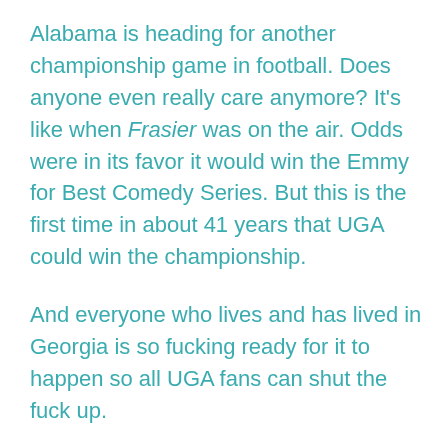Alabama is heading for another championship game in football. Does anyone even really care anymore? It's like when Frasier was on the air. Odds were in its favor it would win the Emmy for Best Comedy Series. But this is the first time in about 41 years that UGA could win the championship.
And everyone who lives and has lived in Georgia is so fucking ready for it to happen so all UGA fans can shut the fuck up.
It was Jan. 1, 1981, when UGA defeated Notre Dame. Jimmy Carter was still President. Since then there have been seven more Presidents. The Soviet Union has collapsed. Major airlines, like Eastern and Pan Am, have gone out of business along with major businesses and